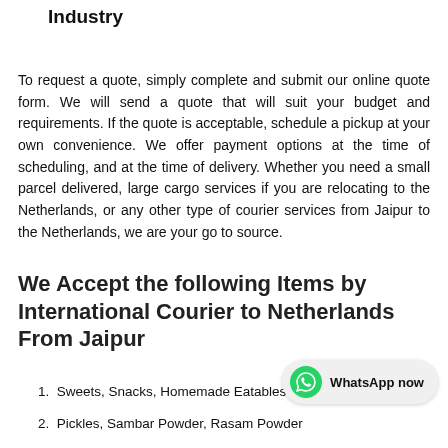We Offer Some of the Most Competitive Prices in the Industry
To request a quote, simply complete and submit our online quote form. We will send a quote that will suit your budget and requirements. If the quote is acceptable, schedule a pickup at your own convenience. We offer payment options at the time of scheduling, and at the time of delivery. Whether you need a small parcel delivered, large cargo services if you are relocating to the Netherlands, or any other type of courier services from Jaipur to the Netherlands, we are your go to source.
We Accept the following Items by International Courier to Netherlands From Jaipur
Sweets, Snacks, Homemade Eatables
Pickles, Sambar Powder, Rasam Powder